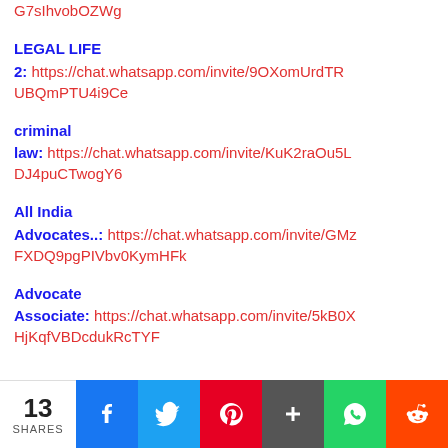G7sIhvobOZWg
LEGAL LIFE 2: https://chat.whatsapp.com/invite/9OXomUrdTRUBQmPTU4i9Ce
criminal law: https://chat.whatsapp.com/invite/KuK2raOu5LDJ4puCTwogY6
All India Advocates..: https://chat.whatsapp.com/invite/GMzFXDQ9pgPIVbv0KymHFk
Advocate Associate: https://chat.whatsapp.com/invite/5kB0XHjKqfVBDcdukRcTYF
13 SHARES | Facebook | Twitter | Pinterest | Plus | WhatsApp | Reddit